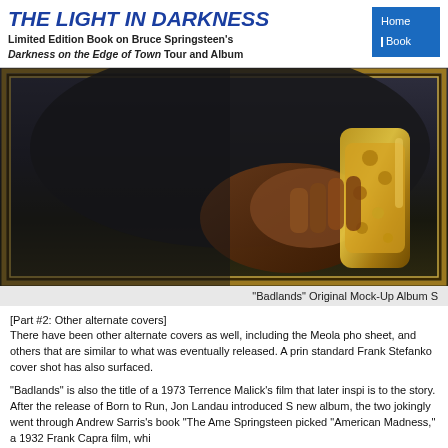THE LIGHT IN DARKNESS
Limited Edition Book on Bruce Springsteen's Darkness on the Edge of Town Tour and Album
[Figure (photo): Close-up framed photograph showing hands playing a saxophone, dark background, gold/brown decorative frame border]
“Badlands” Original Mock-Up Album S
[Part #2: Other alternate covers]
There have been other alternate covers as well, including the Meola photo sheet, and others that are similar to what was eventually released. A print of the standard Frank Stefanko cover shot has also surfaced.
“Badlands” is also the title of a 1973 Terrence Malick’s film that later inspired is to the story. After the release of Born to Run, Jon Landau introduced S new album, the two jokingly went through Andrew Sarris’s book “The Ame Springsteen picked “American Madness,” a 1932 Frank Capra film, whi